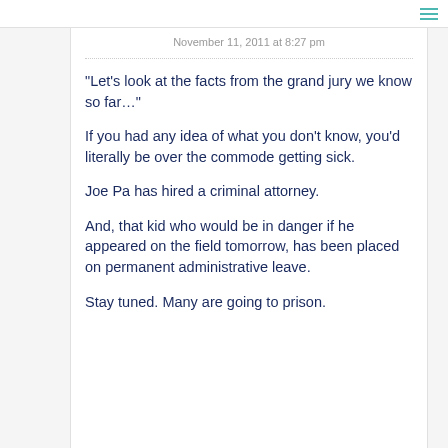November 11, 2011 at 8:27 pm
"Let's look at the facts from the grand jury we know so far…"
If you had any idea of what you don't know, you'd literally be over the commode getting sick.
Joe Pa has hired a criminal attorney.
And, that kid who would be in danger if he appeared on the field tomorrow, has been placed on permanent administrative leave.
Stay tuned. Many are going to prison.